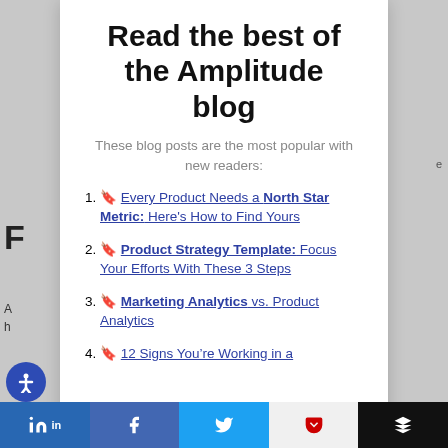Read the best of the Amplitude blog
These blog posts are the most popular with new readers:
🔖 Every Product Needs a North Star Metric: Here's How to Find Yours
🔖 Product Strategy Template: Focus Your Efforts With These 3 Steps
🔖 Marketing Analytics vs. Product Analytics
🔖 12 Signs You're Working in a